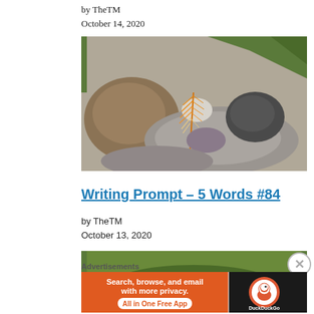by TheTM
October 14, 2020
[Figure (photo): Photograph of stones, pebbles, and a small orange and white feather arranged on a burlap background with green foliage]
Writing Prompt – 5 Words #84
by TheTM
October 13, 2020
[Figure (photo): Partial photograph showing green foliage, bottom portion cut off]
Advertisements
[Figure (other): DuckDuckGo advertisement banner: Search, browse, and email with more privacy. All in One Free App]